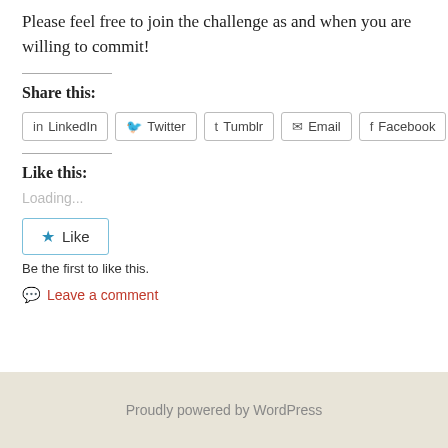Please feel free to join the challenge as and when you are willing to commit!
Share this:
[Figure (other): Social sharing buttons: LinkedIn, Twitter, Tumblr, Email, Facebook]
Like this:
Loading...
[Figure (other): Like button with star icon]
Be the first to like this.
Leave a comment
Proudly powered by WordPress